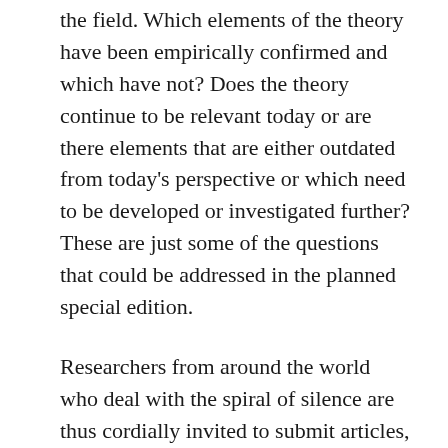the field. Which elements of the theory have been empirically confirmed and which have not? Does the theory continue to be relevant today or are there elements that are either outdated from today's perspective or which need to be developed or investigated further? These are just some of the questions that could be addressed in the planned special edition.
Researchers from around the world who deal with the spiral of silence are thus cordially invited to submit articles, including both theoretical discussions and papers focusing on empirical studies. Please submit your manuscript to the IJPOR website at